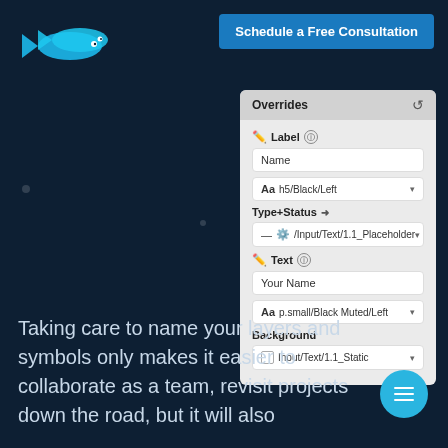[Figure (logo): Blue stylized fish logo (two overlapping fish shapes in cyan/blue)]
Schedule a Free Consultation
[Figure (screenshot): UI panel showing Overrides section with Label field (Name, Aa h5/Black/Left dropdown), Type+Status with gear icon (/Input/Text/1.1_Placeholder dropdown), Text section (Your Name, Aa p.small/Black Muted/Left dropdown), Background section with Input/Text/1.1_Static dropdown]
Taking care to name your layers and symbols only makes it easier to collaborate as a team, revisit projects down the road, but it will also